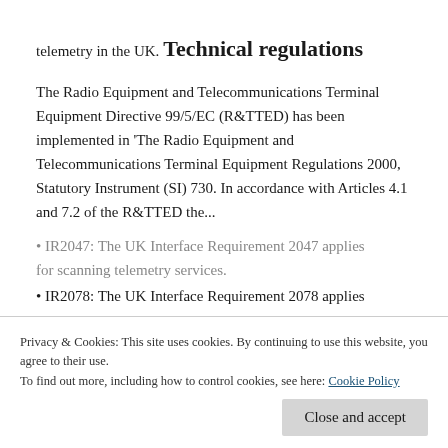telemetry in the UK.
Technical regulations
The Radio Equipment and Telecommunications Terminal Equipment Directive 99/5/EC (R&TTED) has been implemented in 'The Radio Equipment and Telecommunications Terminal Equipment Regulations 2000, Statutory Instrument (SI) 730. In accordance with Articles 4.1 and 7.2 of the R&TTED the...
Privacy & Cookies: This site uses cookies. By continuing to use this website, you agree to their use.
To find out more, including how to control cookies, see here: Cookie Policy
IR2047: The UK Interface Requirement 2047 applies for scanning telemetry services.
IR2078: The UK Interface Requirement 2078 applies